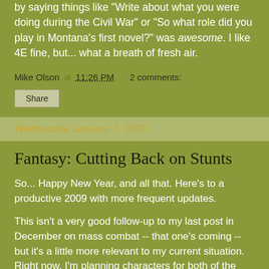by saying things like "Write about what you were doing during the Civil War" or "So what role did you play in Montana's first novel?" was awesome. I like 4E fine, but... what a breath of fresh air.
Mike Olson at 11:26 PM    2 comments:
Share
Wednesday, January 7, 2009
Fantasy: Cutting Back on Stunts
So... Happy New Year, and all that. Here's to a productive 2009 with more frequent updates.
This isn't a very good follow-up to my last post in December on mass combat -- that one's coming -- but it's a little more relevant to my current situation. Right now, I'm planning characters for both of the SotC-derived I plan to run at OrcCon next month. More than once, I've seen (or heard)